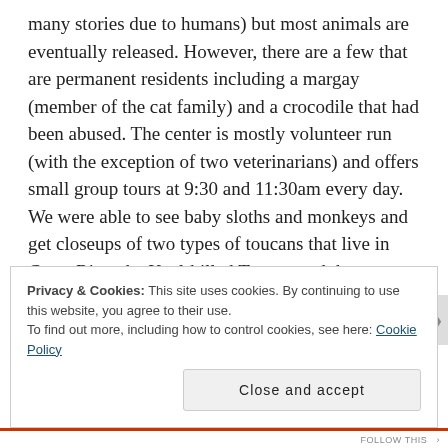many stories due to humans) but most animals are eventually released. However, there are a few that are permanent residents including a margay (member of the cat family) and a crocodile that had been abused. The center is mostly volunteer run (with the exception of two veterinarians) and offers small group tours at 9:30 and 11:30am every day. We were able to see baby sloths and monkeys and get closeups of two types of toucans that live in Costa Rica, the Keel-billed Toucan and the Chestnut Mandibled Toucan.
Privacy & Cookies: This site uses cookies. By continuing to use this website, you agree to their use.
To find out more, including how to control cookies, see here: Cookie Policy
Close and accept